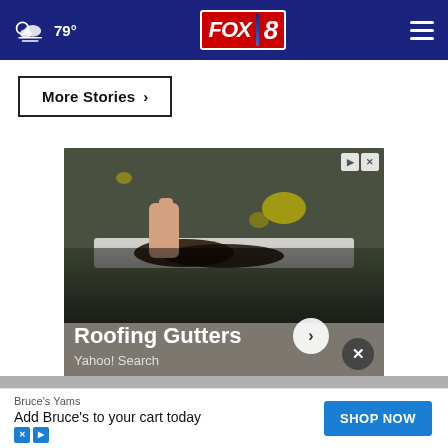79° FOX 8
More Stories ›
[Figure (photo): Advertisement showing a hand cleaning debris from a roof gutter with yellow lichen on roofing tiles. Text overlay: 'Roofing Gutters' and 'Yahoo! Search']
[Figure (infographic): Banner advertisement for Bruce's Yams: 'Add Bruce's to your cart today' with SHOP NOW button]